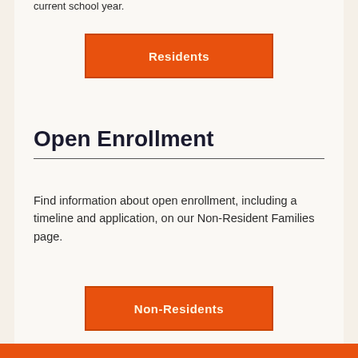current school year.
[Figure (other): Orange button labeled 'Residents']
Open Enrollment
Find information about open enrollment, including a timeline and application, on our Non-Resident Families page.
[Figure (other): Orange button labeled 'Non-Residents']